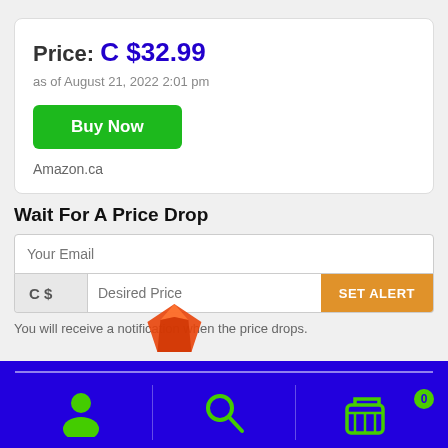Price: C $32.99
as of August 21, 2022 2:01 pm
Buy Now
Amazon.ca
Wait For A Price Drop
Your Email
C$  Desired Price  SET ALERT
You will receive a notification when the price drops.
[Figure (illustration): Orange crystal/gem icon partially visible at bottom of content area]
[Figure (infographic): Bottom navigation bar with blue/purple background showing user account icon, search icon, and shopping cart icon with badge showing 0]